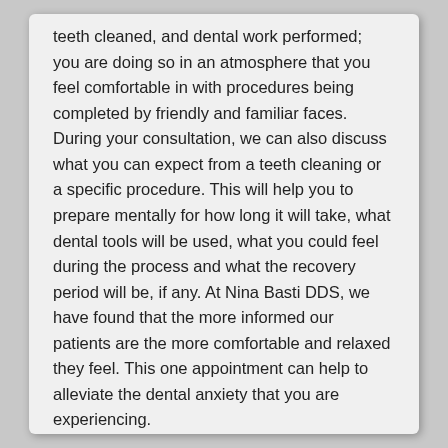teeth cleaned, and dental work performed; you are doing so in an atmosphere that you feel comfortable in with procedures being completed by friendly and familiar faces. During your consultation, we can also discuss what you can expect from a teeth cleaning or a specific procedure. This will help you to prepare mentally for how long it will take, what dental tools will be used, what you could feel during the process and what the recovery period will be, if any. At Nina Basti DDS, we have found that the more informed our patients are the more comfortable and relaxed they feel. This one appointment can help to alleviate the dental anxiety that you are experiencing.